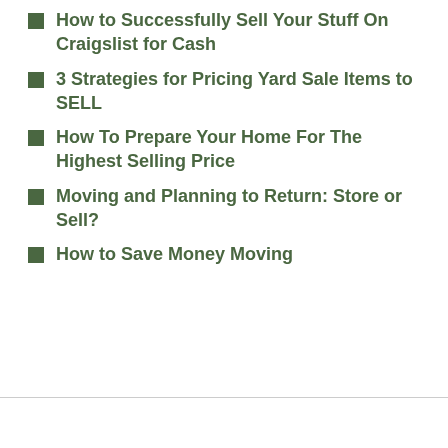How to Successfully Sell Your Stuff On Craigslist for Cash
3 Strategies for Pricing Yard Sale Items to SELL
How To Prepare Your Home For The Highest Selling Price
Moving and Planning to Return: Store or Sell?
How to Save Money Moving